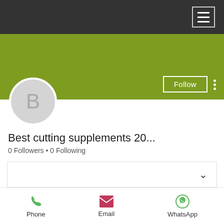[Figure (screenshot): Mobile app top navigation bar with dark background and hamburger menu icon]
[Figure (screenshot): Green cover/banner area with Follow button and vertical dots menu]
[Figure (illustration): Circular avatar placeholder with letter B]
Best cutting supplements 20...
0 Followers • 0 Following
[Figure (screenshot): Collapsible content box with chevron down arrow]
Profile
[Figure (infographic): Contact action bar with Phone, Email, and WhatsApp icons and labels]